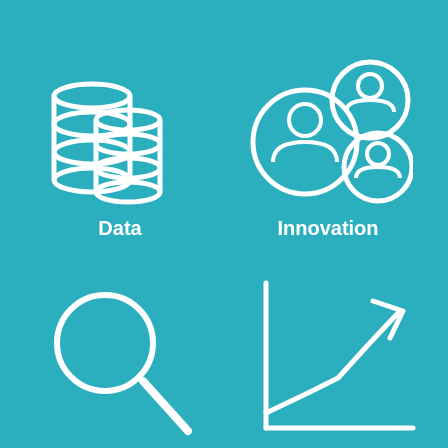[Figure (infographic): Four icons on a teal background arranged in a 2x2 grid. Top-left: database/data stack icon with label 'Data'. Top-right: three user/person circles icon with label 'Innovation'. Bottom-left: magnifying glass search icon (no label). Bottom-right: line chart with upward arrow icon (no label).]